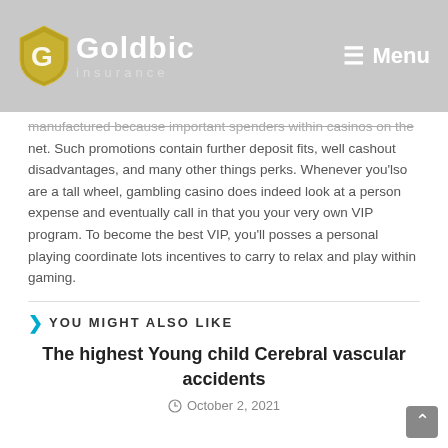Goldbic Insurance — Menu
manufactured because important spenders within casinos on the net. Such promotions contain further deposit fits, well cashout disadvantages, and many other things perks. Whenever you'lso are a tall wheel, gambling casino does indeed look at a person expense and eventually call in that you your very own VIP program. To become the best VIP, you'll posses a personal playing coordinate lots incentives to carry to relax and play within gaming.
YOU MIGHT ALSO LIKE
The highest Young child Cerebral vascular accidents
October 2, 2021